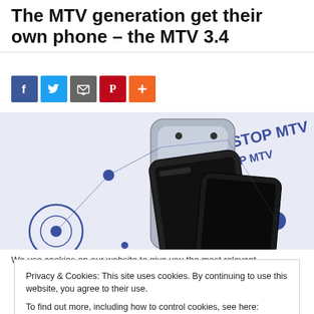The MTV generation get their own phone – the MTV 3.4
[Figure (other): Social sharing buttons: Facebook (blue), Twitter (light blue), Email/share (grey), Pinterest (red), More/plus (orange)]
[Figure (photo): Photo of MTV 3.4 mobile phones with blue graphic branding showing 'N STOP MTV' text pattern on white background]
We use cookies on our website to give you the most relevant
Privacy & Cookies: This site uses cookies. By continuing to use this website, you agree to their use.
To find out more, including how to control cookies, see here: Cookie Policy